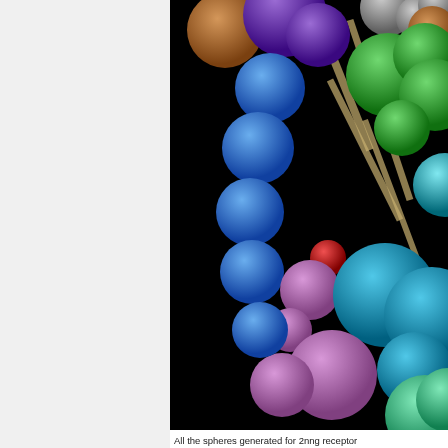[Figure (photo): 3D molecular visualization showing a protein receptor (2nng receptor) rendered as colored spheres on a black background. The spheres are colored in various colors including purple, blue, green, teal, mauve/pink, red, orange-brown, gray, and cyan, arranged in a curved chain-like structure representing the protein backbone and amino acid residues.]
All the spheres generated for 2nng receptor